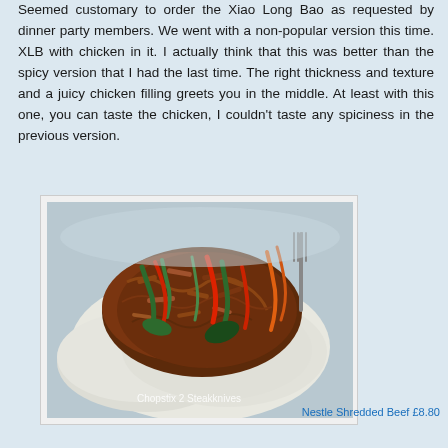Seemed customary to order the Xiao Long Bao as requested by dinner party members. We went with a non-popular version this time. XLB with chicken in it. I actually think that this was better than the spicy version that I had the last time. The right thickness and texture and a juicy chicken filling greets you in the middle. At least with this one, you can taste the chicken, I couldn't taste any spiciness in the previous version.
[Figure (photo): Photo of Nestle Shredded Beef dish - stir-fried shredded beef with colorful vegetables (red and green peppers, carrots) in a brown sauce served on a bed of white rice. Watermark reads 'Chopstix 2 Steak knives'.]
Nestle Shredded Beef £8.80